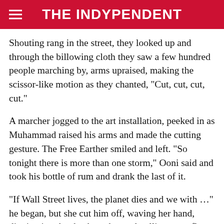THE INDYPENDENT
Shouting rang in the street, they looked up and through the billowing cloth they saw a few hundred people marching by, arms upraised, making the scissor-like motion as they chanted, "Cut, cut, cut, cut."
A marcher jogged to the art installation, peeked in as Muhammad raised his arms and made the cutting gesture. The Free Earther smiled and left. "So tonight there is more than one storm," Ooni said and took his bottle of rum and drank the last of it.
"If Wall Street lives, the planet dies and we with …" he began, but she cut him off, waving her hand, digging into her back pocket and pulling out a flyer. It was one they handed out at the rally he was at earlier. It had the addresses of every bank and financial institution left in